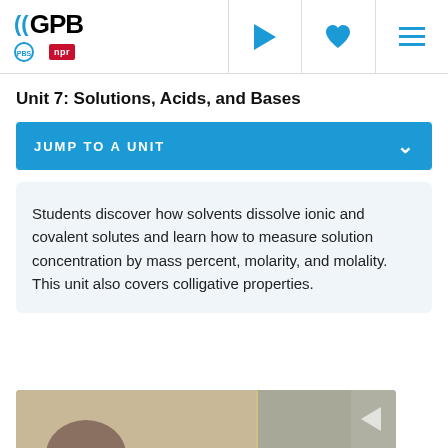GPB | PBS | npr
Unit 7: Solutions, Acids, and Bases
JUMP TO A UNIT
Students discover how solvents dissolve ionic and covalent solutes and learn how to measure solution concentration by mass percent, molarity, and molality. This unit also covers colligative properties.
[Figure (photo): Bottom portion of a classroom or educational setting photo, partially visible at the bottom of the page]